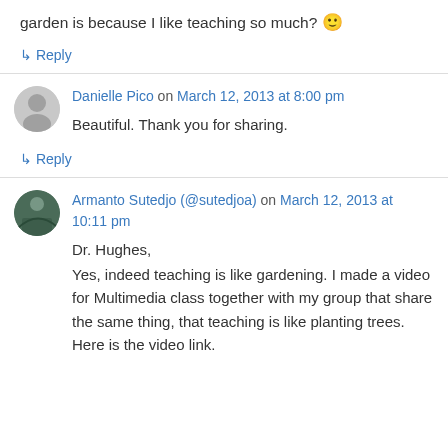garden is because I like teaching so much? 🙂
↳ Reply
Danielle Pico on March 12, 2013 at 8:00 pm
Beautiful. Thank you for sharing.
↳ Reply
Armanto Sutedjo (@sutedjoa) on March 12, 2013 at 10:11 pm
Dr. Hughes,
Yes, indeed teaching is like gardening. I made a video for Multimedia class together with my group that share the same thing, that teaching is like planting trees. Here is the video link.